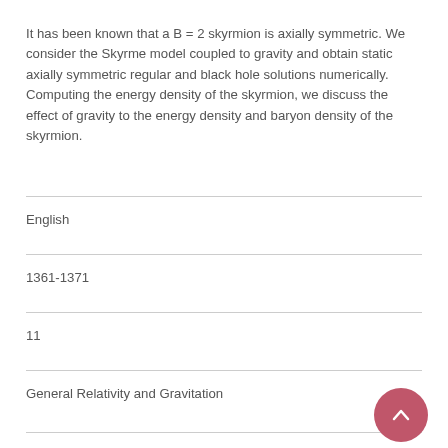It has been known that a B = 2 skyrmion is axially symmetric. We consider the Skyrme model coupled to gravity and obtain static axially symmetric regular and black hole solutions numerically. Computing the energy density of the skyrmion, we discuss the effect of gravity to the energy density and baryon density of the skyrmion.
English
1361-1371
11
General Relativity and Gravitation